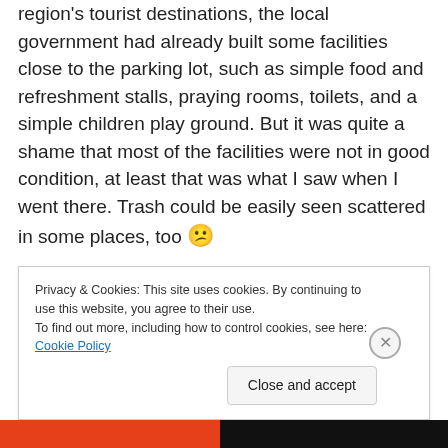region's tourist destinations, the local government had already built some facilities close to the parking lot, such as simple food and refreshment stalls, praying rooms, toilets, and a simple children play ground. But it was quite a shame that most of the facilities were not in good condition, at least that was what I saw when I went there. Trash could be easily seen scattered in some places, too 😕
Well . . . I hope that when I have another chance to visit Irenggolo Waterfall, I will find a much better condition than what I saw back then —
Privacy & Cookies: This site uses cookies. By continuing to use this website, you agree to their use.
To find out more, including how to control cookies, see here: Cookie Policy